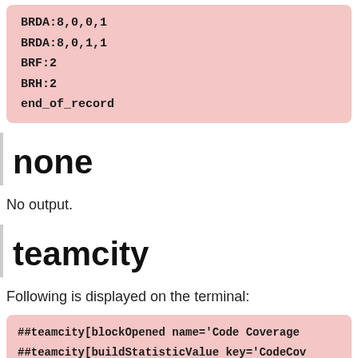BRDA:8,0,0,1
BRDA:8,0,1,1
BRF:2
BRH:2
end_of_record
none
No output.
teamcity
Following is displayed on the terminal:
##teamcity[blockOpened name='Code Coverage
##teamcity[buildStatisticValue key='CodeCov
##teamcity[buildStatisticValue key='CodeCov
##teamcity[buildStatisticValue key='CodeCov
##teamcity[buildStatisticValue key='CodeCov